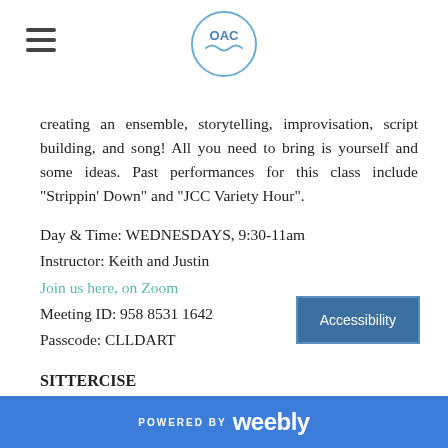[Figure (logo): OAC logo — circular badge with 'OAC' text and wave motif, centered in page header]
creating an ensemble, storytelling, improvisation, script building, and song! All you need to bring is yourself and some ideas. Past performances for this class include "Strippin' Down" and "JCC Variety Hour".
Day & Time: WEDNESDAYS, 9:30-11am
Instructor: Keith and Justin
Join us here, on Zoom
Meeting ID: 958 8531 1642
Passcode: CLLDART
SITTERCISE
Join our wonderful Sittercise class whe... your aerobic activity from the comf...
POWERED BY weebly